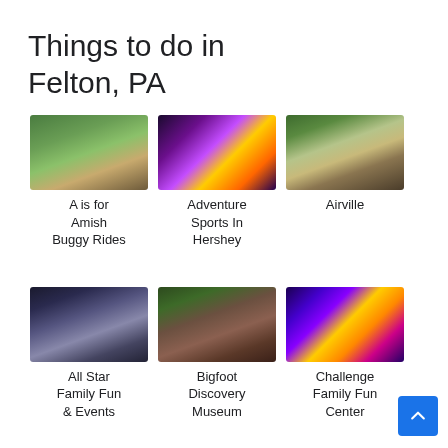Things to do in Felton, PA
[Figure (photo): Photo of A is for Amish Buggy Rides - people riding in a horse-drawn buggy on green farmland]
A is for Amish Buggy Rides
[Figure (photo): Photo of Adventure Sports In Hershey - colorful indoor adventure sports venue]
Adventure Sports In Hershey
[Figure (photo): Photo of Airville - historic stone building surrounded by trees]
Airville
[Figure (photo): Photo of All Star Family Fun & Events - outdoor event with motorcycles on a field at dusk]
All Star Family Fun & Events
[Figure (photo): Photo of Bigfoot Discovery Museum - small red building with Bigfoot sign]
Bigfoot Discovery Museum
[Figure (photo): Photo of Challenge Family Fun Center - colorful arcade/amusement venue interior]
Challenge Family Fun Center